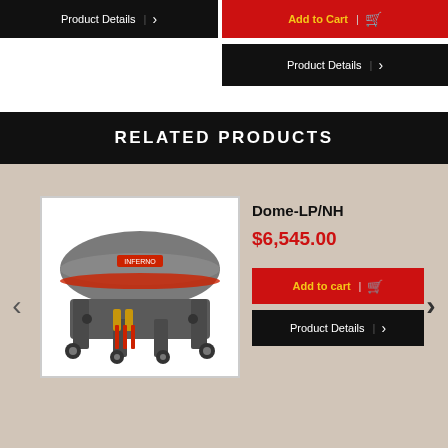[Figure (screenshot): Product Details button (dark/black) with arrow on left side, top of page]
[Figure (screenshot): Add to cart button (red) with shopping cart icon on right side, top of page]
[Figure (screenshot): Product Details button (dark/black) with arrow on right side]
RELATED PRODUCTS
[Figure (photo): Industrial dome-shaped equipment (Dome-LP/NH) on wheeled cart, gray color with orange and red components]
Dome-LP/NH
$6,545.00
[Figure (screenshot): Add to cart button (red) with shopping cart icon]
[Figure (screenshot): Product Details button (dark/black) with arrow]